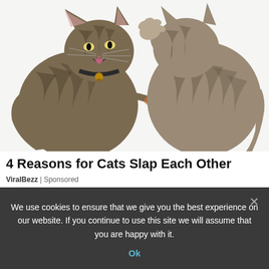[Figure (photo): Two tabby cats facing each other and slapping/fighting, on a white background. Left cat has a collar with a bell and is reaching out with its paw toward the right cat, which is raising its paw defensively.]
4 Reasons for Cats Slap Each Other
ViralBezz | Sponsored
We use cookies to ensure that we give you the best experience on our website. If you continue to use this site we will assume that you are happy with it.
Ok